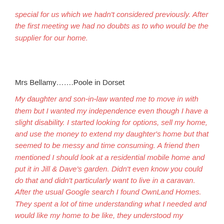special for us which we hadn't considered previously. After the first meeting we had no doubts as to who would be the supplier for our home.
Mrs Bellamy…….Poole in Dorset
My daughter and son-in-law wanted me to move in with them but I wanted my independence even though I have a slight disability. I started looking for options, sell my home, and use the money to extend my daughter's home but that seemed to be messy and time consuming. A friend then mentioned I should look at a residential mobile home and put it in Jill & Dave's garden. Didn't even know you could do that and didn't particularly want to live in a caravan. After the usual Google search I found OwnLand Homes. They spent a lot of time understanding what I needed and would like my home to be like, they understood my disability and designed a home